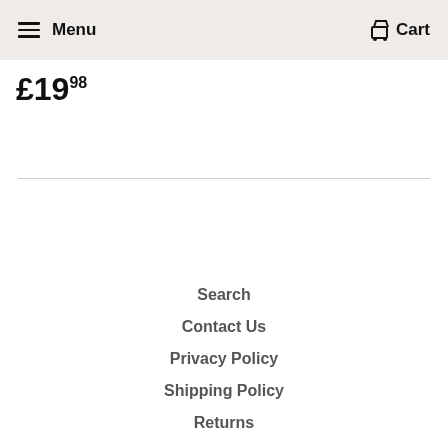Menu  Cart
£19.98
Search
Contact Us
Privacy Policy
Shipping Policy
Returns